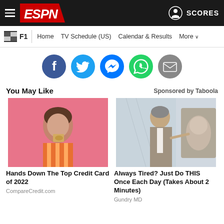ESPN - F1 - Home | TV Schedule (US) | Calendar & Results | More | SCORES
[Figure (screenshot): Social sharing icons row: Facebook, Twitter, Messenger, WhatsApp, Email]
You May Like
Sponsored by Taboola
[Figure (photo): Young woman holding a credit card in front of a pink background - ad for CompareCredit.com]
Hands Down The Top Credit Card of 2022
CompareCredit.com
[Figure (photo): Older man in suit pointing at a knee or joint - ad for Gundry MD]
Always Tired? Just Do THIS Once Each Day (Takes About 2 Minutes)
Gundry MD